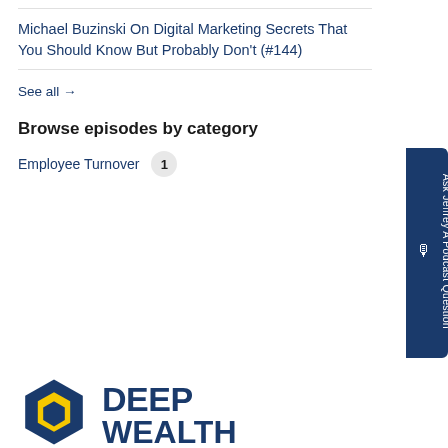Michael Buzinski On Digital Marketing Secrets That You Should Know But Probably Don't (#144)
See all →
Browse episodes by category
Employee Turnover  1
[Figure (other): Deep Wealth logo with hexagon shape and text 'DEEP WEALTH']
Ask Jeffrey A Podcast Question